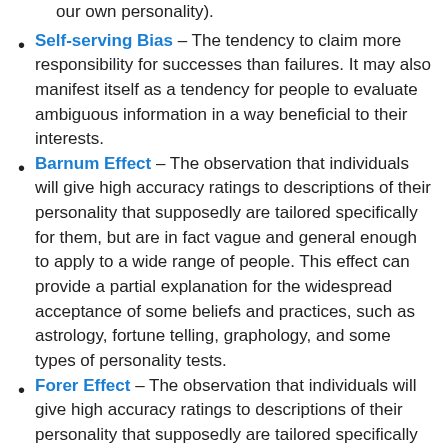our own personality). [partial, top of page]
Self-serving Bias – The tendency to claim more responsibility for successes than failures. It may also manifest itself as a tendency for people to evaluate ambiguous information in a way beneficial to their interests.
Barnum Effect – The observation that individuals will give high accuracy ratings to descriptions of their personality that supposedly are tailored specifically for them, but are in fact vague and general enough to apply to a wide range of people. This effect can provide a partial explanation for the widespread acceptance of some beliefs and practices, such as astrology, fortune telling, graphology, and some types of personality tests.
Forer Effect – The observation that individuals will give high accuracy ratings to descriptions of their personality that supposedly are tailored specifically for them, but are in fact vague and general enough to [continues]